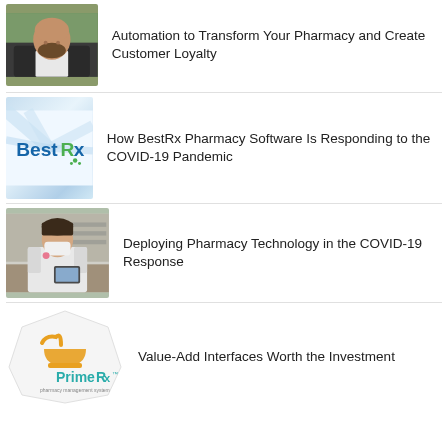[Figure (photo): Portrait photo of a bald man with a beard wearing a dark suit jacket and white shirt, outdoors with green foliage background]
Automation to Transform Your Pharmacy and Create Customer Loyalty
[Figure (logo): BestRx pharmacy software logo with blue and green text and X graphic on a light blue diagonal stripe background]
How BestRx Pharmacy Software Is Responding to the COVID-19 Pandemic
[Figure (photo): Photo of a female pharmacist wearing a white coat and face mask standing at a pharmacy counter]
Deploying Pharmacy Technology in the COVID-19 Response
[Figure (logo): PrimeRx pharmacy software logo with orange mortar and pestle icon and teal PrimeRx text inside a rounded hexagon shape on white background]
Value-Add Interfaces Worth the Investment